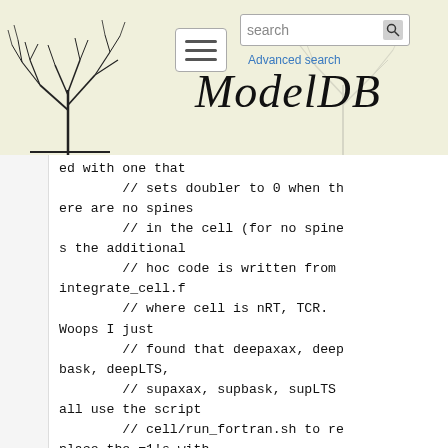[Figure (screenshot): ModelDB website header with neuron illustration, hamburger menu, search box, Advanced search link, and ModelDB italic title]
ed with one that
        // sets doubler to 0 when there are no spines
        // in the cell (for no spines the additional
        // hoc code is written from integrate_cell.f
        // where cell is nRT, TCR. Woops I just
        // found that deepaxax, deepbask, deepLTS,
        // supaxax, supbask, supLTS all use the script
        // cell/run_fortran.sh to replace the =1's with
        // =0's.  I will change the fortran code to
        // make it all run_fortran.sh replacements or
        // not for uniformity.